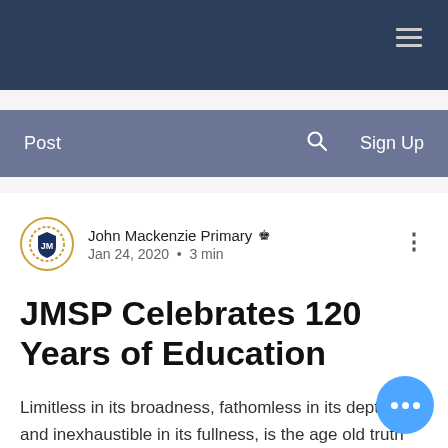[Figure (screenshot): Top navy navigation header bar with hamburger menu icon]
Post   🔍   Sign Up
John Mackenzie Primary 👑  Jan 24, 2020 · 3 min
JMSP Celebrates 120 Years of Education
Limitless in its broadness, fathomless in its depths and inexhaustible in its fullness, is the age old truth that cooperation breeds success. Graced